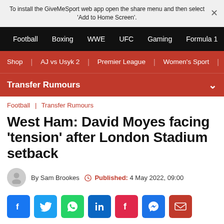To install the GiveMeSport web app open the share menu and then select 'Add to Home Screen'.
Football  Boxing  WWE  UFC  Gaming  Formula 1
Shop | AJ vs Usyk 2 | Premier League | Women's Sport | Th
Transfer Rumours
Football | Transfer Rumours
West Ham: David Moyes facing 'tension' after London Stadium setback
By Sam Brookes  Published: 4 May 2022, 09:00
[Figure (other): Social sharing icons: Facebook, Twitter, WhatsApp, LinkedIn, Flipboard, Messenger, Email]